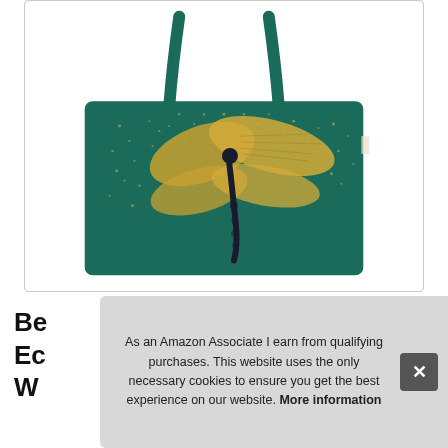[Figure (photo): A teal/dark green canvas tote bag with a gold glittery dragonfly design printed on the front, photographed against a white background.]
Be
Ec
W
As an Amazon Associate I earn from qualifying purchases. This website uses the only necessary cookies to ensure you get the best experience on our website. More information